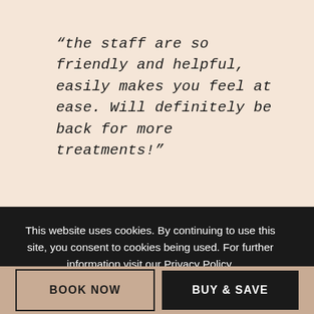“the staff are so friendly and helpful, easily makes you feel at ease. Will definitely be back for more treatments!”
This website uses cookies. By continuing to use this site, you consent to cookies being used. For further information visit our Privacy Policy.
BOOK NOW
BUY & SAVE